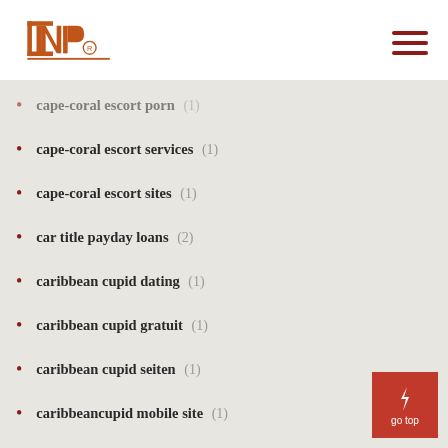INP (logo) - navigation header
cape-coral escort porn (1)
cape-coral escort services (1)
cape-coral escort sites (1)
car title payday loans (2)
caribbean cupid dating (1)
caribbean cupid gratuit (1)
caribbean cupid seiten (1)
caribbeancupid mobile site (1)
caribbeancupid review (1)
caribbeancupid-overzicht Review (1)
carlsbad escort porn (1)